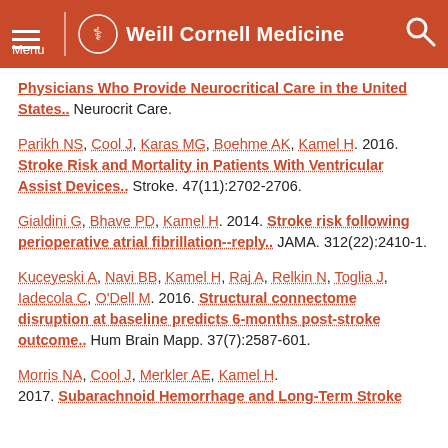Weill Cornell Medicine
Physicians Who Provide Neurocritical Care in the United States.. Neurocrit Care.
Parikh NS, Cool J, Karas MG, Boehme AK, Kamel H. 2016. Stroke Risk and Mortality in Patients With Ventricular Assist Devices.. Stroke. 47(11):2702-2706.
Gialdini G, Bhave PD, Kamel H. 2014. Stroke risk following perioperative atrial fibrillation--reply.. JAMA. 312(22):2410-1.
Kuceyeski A, Navi BB, Kamel H, Raj A, Relkin N, Toglia J, Iadecola C, O'Dell M. 2016. Structural connectome disruption at baseline predicts 6-months post-stroke outcome.. Hum Brain Mapp. 37(7):2587-601.
Morris NA, Cool J, Merkler AE, Kamel H. 2017. Subarachnoid Hemorrhage and Long-Term Stroke